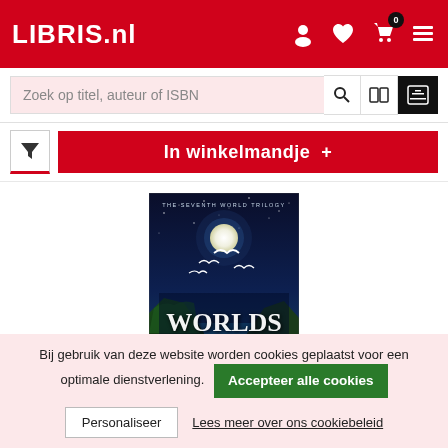LIBRIS.nl
Zoek op titel, auteur of ISBN
In winkelmandje +
[Figure (photo): Book cover of 'Worlds Unseen' from The Seventh World Trilogy series, showing a moonlit fantasy landscape with cliffs, sea, and flying birds]
Bij gebruik van deze website worden cookies geplaatst voor een optimale dienstverlening. Accepteer alle cookies Personaliseer Lees meer over ons cookiebeleid